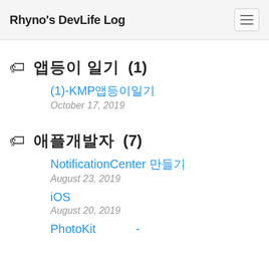Rhyno's DevLife Log
앱등이 일기 (1)
(1)-KMP앱등이일기
October 17, 2019
애플개발자 (7)
NotificationCenter 만들기
August 23, 2019
iOS
August 20, 2019
PhotoKit -